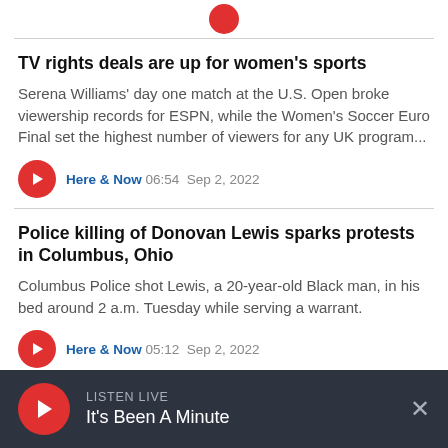[Figure (logo): Red circular dot/logo partially visible at top]
TV rights deals are up for women's sports
Serena Williams' day one match at the U.S. Open broke viewership records for ESPN, while the Women's Soccer Euro Final set the highest number of viewers for any UK program...
Here & Now  06:54  Sep 2, 2022
Police killing of Donovan Lewis sparks protests in Columbus, Ohio
Columbus Police shot Lewis, a 20-year-old Black man, in his bed around 2 a.m. Tuesday while serving a warrant.
Here & Now  05:12  Sep 2, 2022
LISTEN LIVE
It's Been A Minute